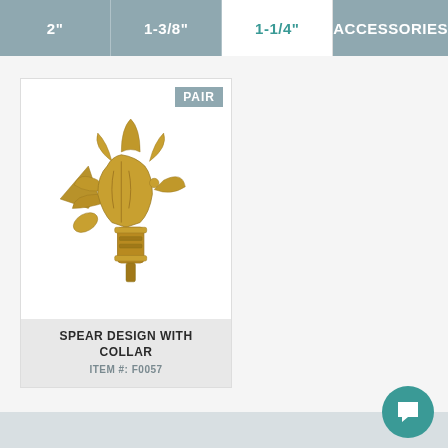2"  1-3/8"  1-1/4"  ACCESSORIES
[Figure (photo): Gold/antique brass spear design finial with decorative collar, ornate fleur-de-lis style top, shown at an angle]
PAIR
SPEAR DESIGN WITH COLLAR
ITEM #: F0057